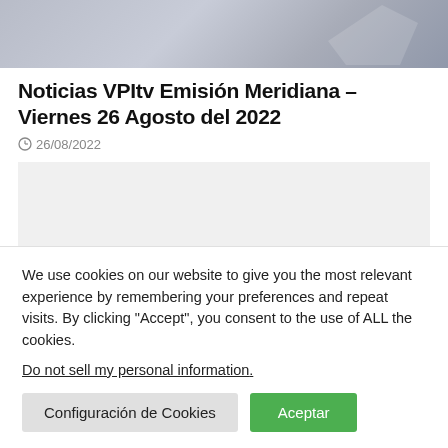[Figure (photo): Gray header image with abstract shapes in the background, likely a decorative banner for a news website.]
Noticias VPItv Emisión Meridiana – Viernes 26 Agosto del 2022
26/08/2022
[Figure (other): Gray placeholder box, likely an embedded video player area.]
We use cookies on our website to give you the most relevant experience by remembering your preferences and repeat visits. By clicking “Accept”, you consent to the use of ALL the cookies.
Do not sell my personal information.
Configuración de Cookies
Aceptar